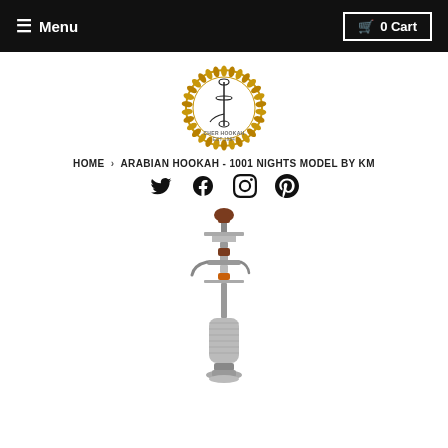≡ Menu    🛒 0 Cart
[Figure (logo): Circular wreath logo with hookah silhouette and text 'CHER HOOKAH EST 1984' in the center]
HOME › ARABIAN HOOKAH - 1001 NIGHTS MODEL BY KM
[Figure (infographic): Social media icons row: Twitter, Facebook, Instagram, Pinterest]
[Figure (photo): Tall ornate Arabian hookah / shisha pipe, silver and brown, photographed vertically on white background]